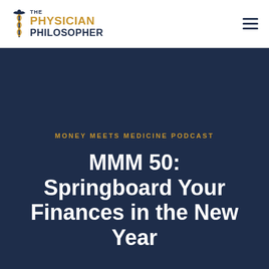[Figure (logo): The Physician Philosopher logo with caduceus icon and text]
MONEY MEETS MEDICINE PODCAST
MMM 50: Springboard Your Finances in the New Year